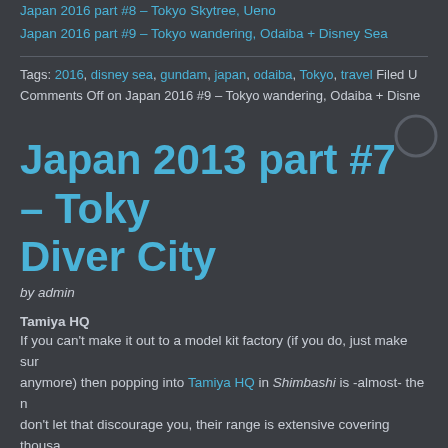Japan 2016 part #8 – Tokyo Skytree, Ueno
Japan 2016 part #9 – Tokyo wandering, Odaiba + Disney Sea
Tags: 2016, disney sea, gundam, japan, odaiba, Tokyo, travel Filed U... Comments Off on Japan 2016 #9 – Tokyo wandering, Odaiba + Disne...
Japan 2013 part #7 – Tokyo... Diver City
by admin
Tamiya HQ
If you can't make it out to a model kit factory (if you do, just make sure... anymore) then popping into Tamiya HQ in Shimbashi is -almost- the n... don't let that discourage you, their range is extensive covering thousa... building materials on the ground floor; an RC haven in the basement... The street level also has a solid selection of built kits on display and a... merchandise including clothing, stickers and nicknacks. The longer ni... 6pm on weekends) are useful for planning your days when you lose t...